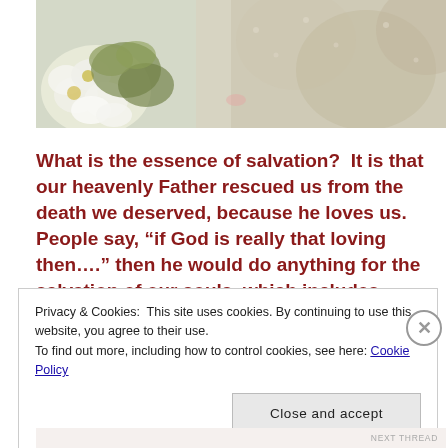[Figure (photo): Wedding bouquet with white flowers and greenery on the left, white lace wedding dress fabric on the right]
What is the essence of salvation?  It is that our heavenly Father rescued us from the death we deserved, because he loves us.  People say, “if God is really that loving then….” then he would do anything for the salvation of our souls, which includes letting us go
Privacy & Cookies: This site uses cookies. By continuing to use this website, you agree to their use.
To find out more, including how to control cookies, see here: Cookie Policy
Close and accept